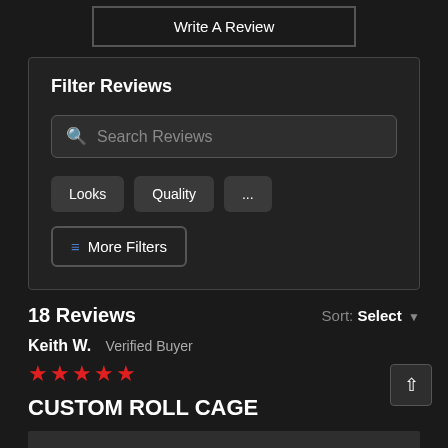Write A Review
Filter Reviews
Search Reviews
Looks
Quality
...
More Filters
18 Reviews
Sort: Select
Keith W.  Verified Buyer
[Figure (other): Five red star rating]
CUSTOM ROLL CAGE
[Figure (photo): Partial review image strip at bottom]